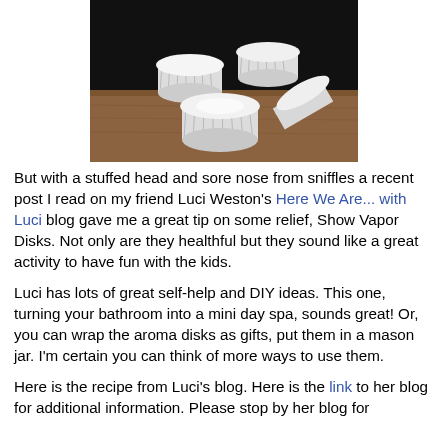[Figure (photo): Photograph of several white cupcake/muffin paper liners stacked on a wooden surface against a dark background]
But with a stuffed head and sore nose from sniffles a recent post I read on my friend Luci Weston's Here We Are... with Luci blog gave me a great tip on some relief, Show Vapor Disks. Not only are they healthful but they sound like a great activity to have fun with the kids.
Luci has lots of great self-help and DIY ideas. This one, turning your bathroom into a mini day spa, sounds great! Or, you can wrap the aroma disks as gifts, put them in a mason jar. I'm certain you can think of more ways to use them.
Here is the recipe from Luci's blog. Here is the link to her blog for additional information. Please stop by her blog for